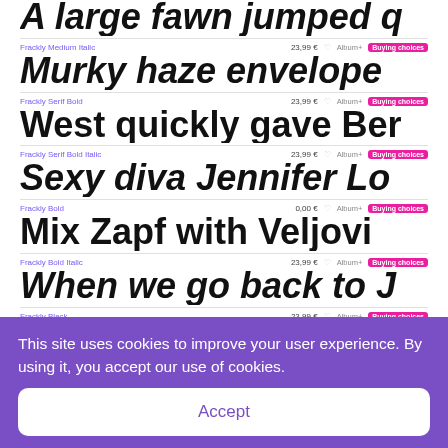Frackly Medium Italic — 23,99 € — Album+ — Buying choices — Murky haze envelope
Frackly Serif Bold — 23,99 € — Album+ — Buying choices — West quickly gave Ber
Frackly Serif Bold Italic — 23,99 € — Album+ — Buying choices — Sexy diva Jennifer Lo
Frackly Bold — 0,00 € — Album+ — Buying choices — Mix Zapf with Veljovi
Frackly Bold Italic — 23,99 € — Album+ — Buying choices — When we go back to J
Frackly Black — 23,99 € — Album+ — Buying choices — Turgid saxophones ble
This site uses cookies to improve your user experience. By using it, you accept our use of cookies.
Accept